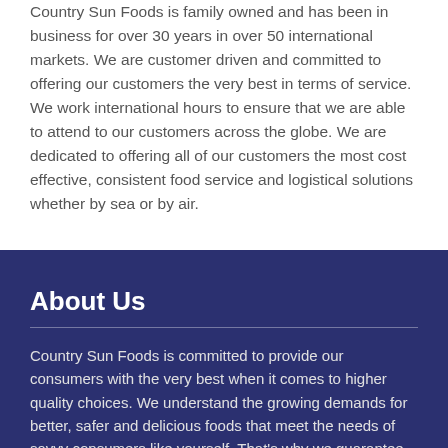Country Sun Foods is family owned and has been in business for over 30 years in over 50 international markets. We are customer driven and committed to offering our customers the very best in terms of service. We work international hours to ensure that we are able to attend to our customers across the globe. We are dedicated to offering all of our customers the most cost effective, consistent food service and logistical solutions whether by sea or by air.
About Us
Country Sun Foods is committed to provide our consumers with the very best when it comes to higher quality choices. We understand the growing demands for better, safer and delicious foods that meet the needs of savvy consumers like yourself. That's why we guarantee with our quality products that you will find the perfect meal solutions for yourself and